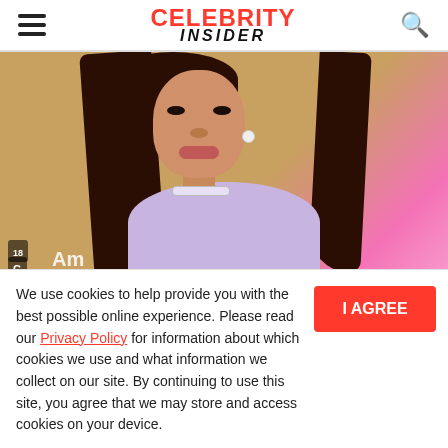CELEBRITY INSIDER
[Figure (photo): Photo of Ariana Grande at a red carpet event wearing a strapless lavender dress and diamond choker necklace, with long straight dark hair, against a beige and pink backdrop]
Ariana Grande Shows Before And After Pictures
We use cookies to help provide you with the best possible online experience. Please read our Privacy Policy for information about which cookies we use and what information we collect on our site. By continuing to use this site, you agree that we may store and access cookies on your device.